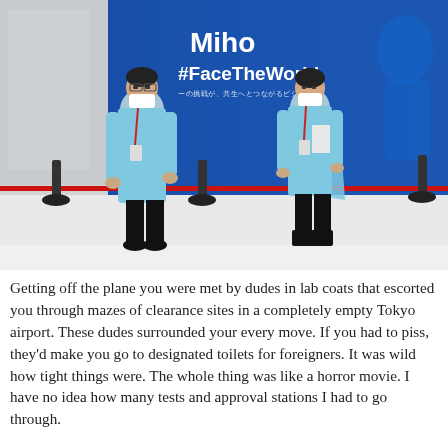[Figure (photo): Two airport workers wearing light blue protective gowns, face masks, and lanyards/badges stand in what appears to be a Tokyo airport. Behind them is a blue promotional banner reading 'Miho #FaceTheWorld'. The floor is white/light grey. Stanchion barriers with red rope are visible.]
Getting off the plane you were met by dudes in lab coats that escorted you through mazes of clearance sites in a completely empty Tokyo airport. These dudes surrounded your every move. If you had to piss, they'd make you go to designated toilets for foreigners. It was wild how tight things were. The whole thing was like a horror movie. I have no idea how many tests and approval stations I had to go through.